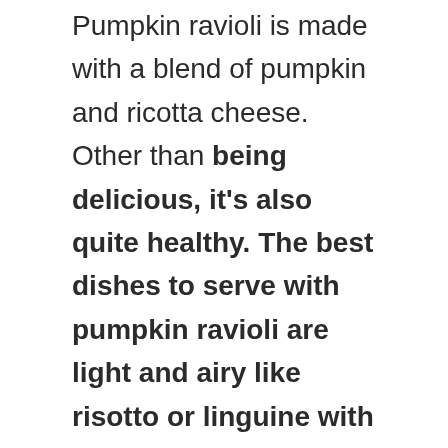Pumpkin ravioli is made with a blend of pumpkin and ricotta cheese. Other than being delicious, it's also quite healthy. The best dishes to serve with pumpkin ravioli are light and airy like risotto or linguine with a creamy sauce that doesn't overpower the delicate flavors of the ravioli. For those who have not tried pumpkin ravioli, it is a pasta that is made with pumpkin puree. This recipe from Food